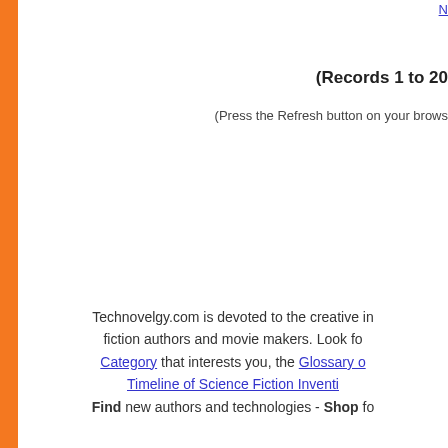N
(Records 1 to 20
(Press the Refresh button on your brows
Technovelgy.com is devoted to the creative in fiction authors and movie makers. Look fo Category that interests you, the Glossary o Timeline of Science Fiction Inventi Find new authors and technologies - Shop fo